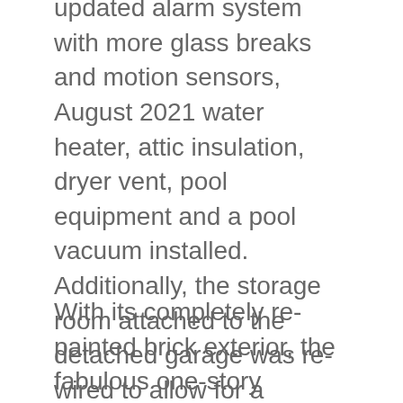updated alarm system with more glass breaks and motion sensors, August 2021 water heater, attic insulation, dryer vent, pool equipment and a pool vacuum installed. Additionally, the storage room attached to the detached garage was re-wired to allow for a refrigerator as well as the electric was re-wired to the automatic gate and in the kitchen.
With its completely re-painted brick exterior, the fabulous one-story residence offers approximately 1,466